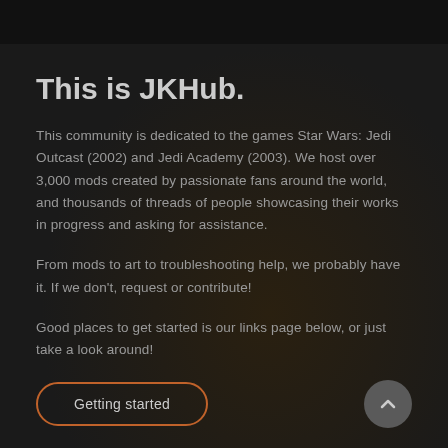This is JKHub.
This community is dedicated to the games Star Wars: Jedi Outcast (2002) and Jedi Academy (2003). We host over 3,000 mods created by passionate fans around the world, and thousands of threads of people showcasing their works in progress and asking for assistance.
From mods to art to troubleshooting help, we probably have it. If we don't, request or contribute!
Good places to get started is our links page below, or just take a look around!
Getting started